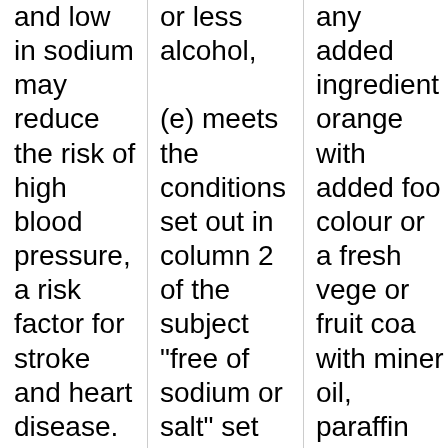and low in sodium may reduce the risk of high blood pressure, a risk factor for stroke and heart disease. (Naming the food) is a good source of potassium and is
or less alcohol,
(e) meets the conditions set out in column 2 of the subject "free of sodium or salt" set out in item a) of the Summary Table for Sodium (Salt) Claims, if the label of or advertisement for the food carries statement or
any added ingredient orange with added food colour or a fresh vege or fruit coa with miner oil, paraffin wax, petrolatum any other protective coating.

Nutrition F table requ